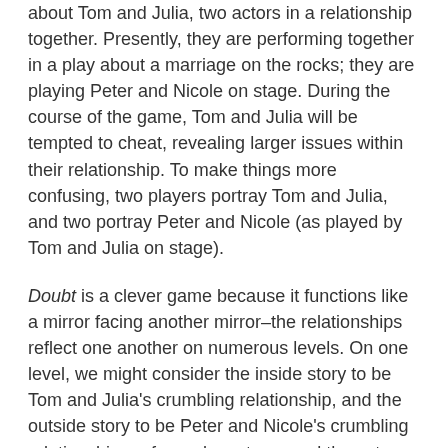about Tom and Julia, two actors in a relationship together. Presently, they are performing together in a play about a marriage on the rocks; they are playing Peter and Nicole on stage. During the course of the game, Tom and Julia will be tempted to cheat, revealing larger issues within their relationship. To make things more confusing, two players portray Tom and Julia, and two portray Peter and Nicole (as played by Tom and Julia on stage).
Doubt is a clever game because it functions like a mirror facing another mirror–the relationships reflect one another on numerous levels. On one level, we might consider the inside story to be Tom and Julia's crumbling relationship, and the outside story to be Peter and Nicole's crumbling relationship performed on stage, and those two are in unity. On another level, we might consider the inside story to be the internal doubt that the characters in both couples feel, which mirrors external doubts about their relationships. The relationship of Tom and Julia is the one of